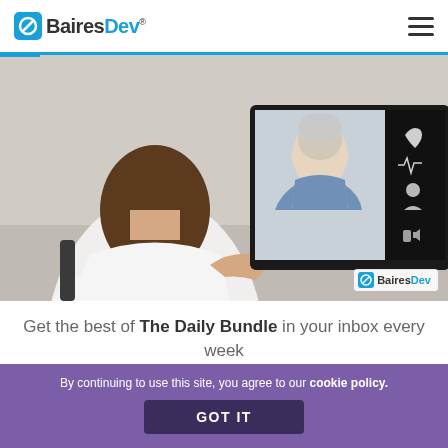BairesDev
[Figure (photo): A person in a white coat viewed from behind, gesturing with hands open, facing a monitor showing a video call with an elderly man in a blue shirt. Medical icons visible on the right side of the monitor screen. BairesDev watermark logo in bottom-right corner of the image.]
Get the best of The Daily Bundle in your inbox every week
By continuing to use this site, you agree to our cookie policy.
GOT IT